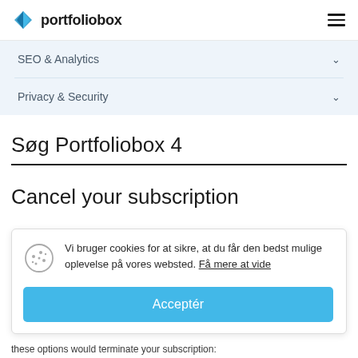portfoliobox
SEO & Analytics
Privacy & Security
Søg Portfoliobox 4
Cancel your subscription
Vi bruger cookies for at sikre, at du får den bedst mulige oplevelse på vores websted. Få mere at vide
Acceptér
these options would terminate your subscription: